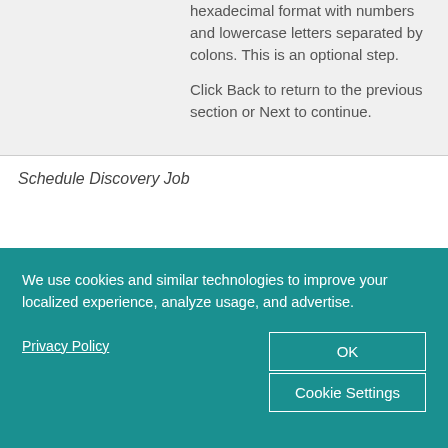hexadecimal format with numbers and lowercase letters separated by colons. This is an optional step.
Click Back to return to the previous section or Next to continue.
Schedule Discovery Job
We use cookies and similar technologies to improve your localized experience, analyze usage, and advertise.
Privacy Policy
OK
Cookie Settings